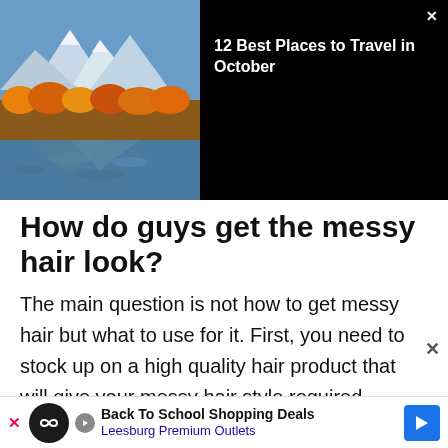[Figure (photo): Landscape photo of mountains with autumn foliage reflected in a calm lake, shown in the top-left banner area]
12 Best Places to Travel in October
How do guys get the messy hair look?
The main question is not how to get messy hair but what to use for it. First, you need to stock up on a high quality hair product that will give your messy hair style required texture. So, look for a sea salt spray, a hair pomade with a matte finish or a hair wax. To enhance the texture and create a ruffled hair look, you should tousle your locks
Back To School Shopping Deals Leesburg Premium Outlets